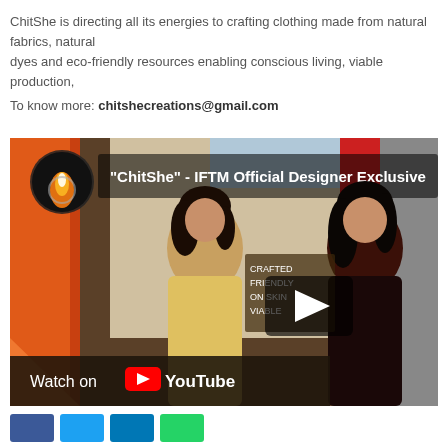ChitShe is directing all its energies to crafting clothing made from natural fabrics, natural dyes and eco-friendly resources enabling conscious living, viable production,
To know more: chitshecreations@gmail.com
[Figure (screenshot): YouTube video thumbnail showing two women at a ChitShe IFTM event with overlay text 'ChitShe - IFTM Official Designer Exclusive' and a YouTube play button and Watch on YouTube bar at the bottom.]